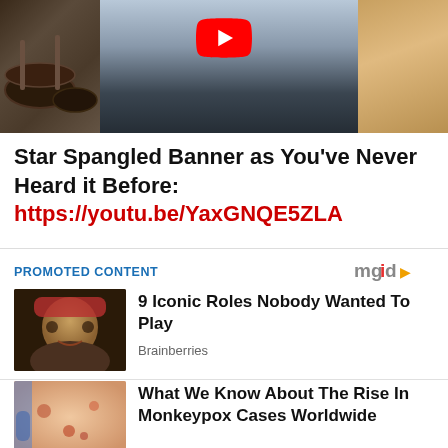[Figure (screenshot): YouTube video thumbnail showing a person in a dark vest over a blue shirt, with drums visible on the left and a YouTube play button overlay centered at the top]
Star Spangled Banner as You've Never Heard it Before: https://youtu.be/YaxGNQE5ZLA
PROMOTED CONTENT
[Figure (logo): mgid logo with play button icon]
[Figure (photo): Photo of a person dressed as Jack Sparrow from Pirates of the Caribbean]
9 Iconic Roles Nobody Wanted To Play
Brainberries
[Figure (photo): Medical photo showing a person with monkeypox lesions being examined]
What We Know About The Rise In Monkeypox Cases Worldwide